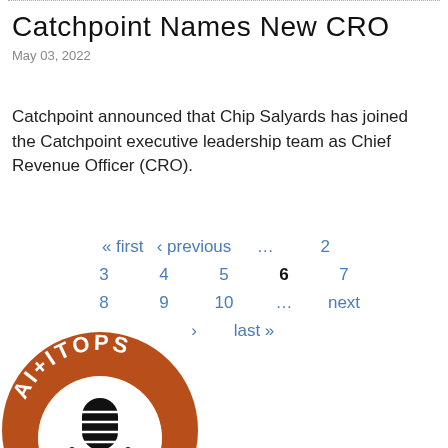Catchpoint Names New CRO
May 03, 2022
Catchpoint announced that Chip Salyards has joined the Catchpoint executive leadership team as Chief Revenue Officer (CRO).
« first  ‹ previous  …  2  3  4  5  6  7  8  9  10  …  next  ›  last »
[Figure (logo): AI+ITOPS podcast logo — an orange circle with white text 'AI+ITOPS' along the top arc and a black and white microphone icon in the center]